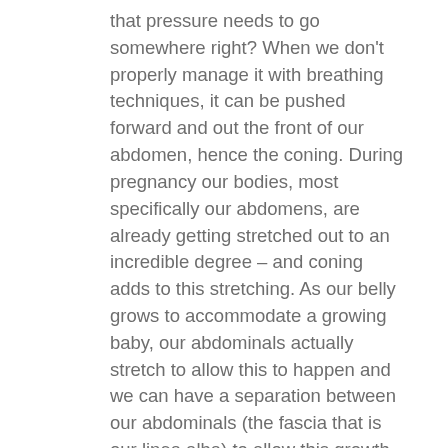that pressure needs to go somewhere right? When we don't properly manage it with breathing techniques, it can be pushed forward and out the front of our abdomen, hence the coning. During pregnancy our bodies, most specifically our abdomens, are already getting stretched out to an incredible degree – and coning adds to this stretching. As our belly grows to accommodate a growing baby, our abdominals actually stretch to allow this to happen and we can have a separation between our abdominals (the fascia that is our linea alba) to allow this growth. It is absolutely AMAZING that our body is designed to do this! However, when we are coning, that created pressure can put even more force on our abdominals – encouraging that separation even more, which we should avoid if we can.
What about coning postpartum? After we give birth